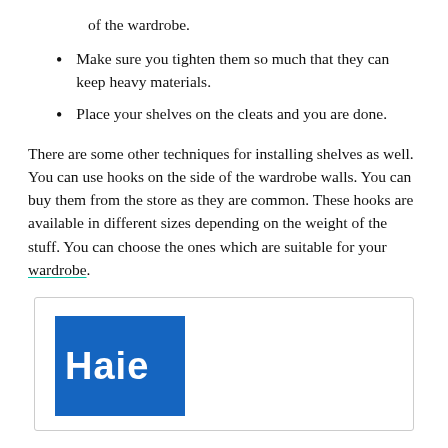of the wardrobe.
Make sure you tighten them so much that they can keep heavy materials.
Place your shelves on the cleats and you are done.
There are some other techniques for installing shelves as well. You can use hooks on the side of the wardrobe walls. You can buy them from the store as they are common. These hooks are available in different sizes depending on the weight of the stuff. You can choose the ones which are suitable for your wardrobe.
[Figure (logo): Haier brand logo — blue square background with white bold text 'Haier', partially cropped on the right side]